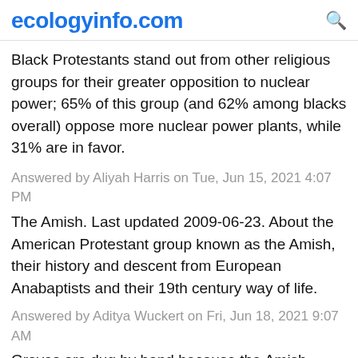ecologyinfo.com
Black Protestants stand out from other religious groups for their greater opposition to nuclear power; 65% of this group (and 62% among blacks overall) oppose more nuclear power plants, while 31% are in favor.
Answered by Aliyah Harris on Tue, Jun 15, 2021 4:07 PM
The Amish. Last updated 2009-06-23. About the American Protestant group known as the Amish, their history and descent from European Anabaptists and their 19th century way of life.
Answered by Aditya Wuckert on Fri, Jun 18, 2021 9:07 AM
Graves are dug by hand because the Amish believe